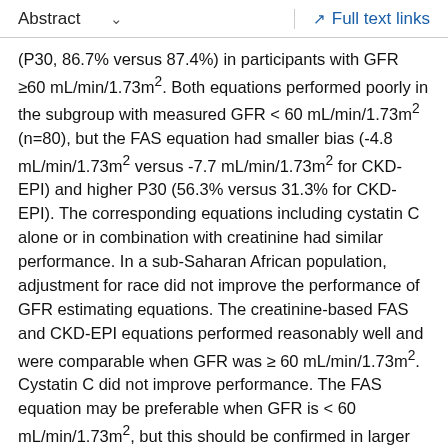Abstract  ∨    Full text links
(P30, 86.7% versus 87.4%) in participants with GFR ≥60 mL/min/1.73m². Both equations performed poorly in the subgroup with measured GFR < 60 mL/min/1.73m² (n=80), but the FAS equation had smaller bias (-4.8 mL/min/1.73m² versus -7.7 mL/min/1.73m² for CKD-EPI) and higher P30 (56.3% versus 31.3% for CKD-EPI). The corresponding equations including cystatin C alone or in combination with creatinine had similar performance. In a sub-Saharan African population, adjustment for race did not improve the performance of GFR estimating equations. The creatinine-based FAS and CKD-EPI equations performed reasonably well and were comparable when GFR was ≥ 60 mL/min/1.73m². Cystatin C did not improve performance. The FAS equation may be preferable when GFR is < 60 mL/min/1.73m², but this should be confirmed in larger studies.